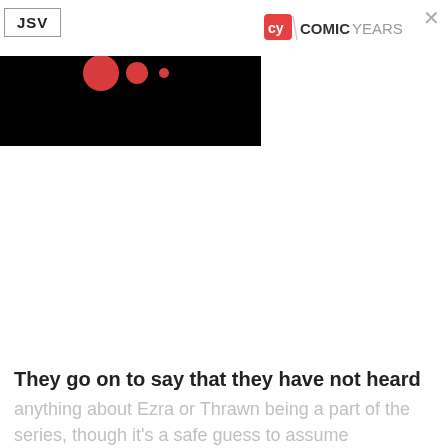JSV
[Figure (screenshot): Black video player area with three red circles of decreasing size (loading indicator) on a black background]
[Figure (logo): Comic Years logo with red 'cy' icon and 'COMICYEARS' text]
They go on to say that they have not heard anything about Ezra or Thrawn being a part of the series, though it's a safe guess to assume